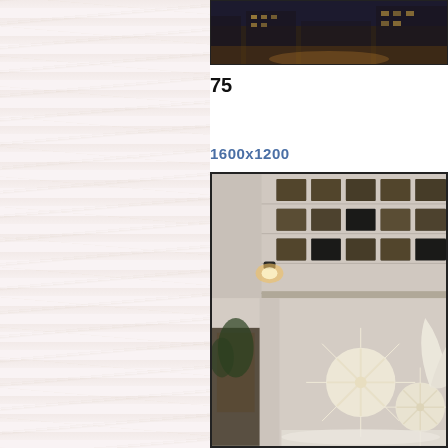[Figure (photo): Top cropped night photo, partially visible at top right]
75
1600x1200
[Figure (photo): Photograph of Rockefeller Center building exterior with illuminated star/snowflake holiday decorations and angel figures in foreground, wall-mounted light fixtures on building facade]